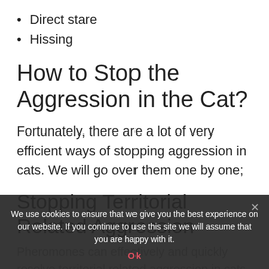Direct stare
Hissing
How to Stop the Aggression in the Cat?
Fortunately, there are a lot of very efficient ways of stopping aggression in cats. We will go over them one by one;
Stopping Territorial Related Aggression
Pheromones can effectively and quickly resolve territorial related aggression in cats.
What are Pheromones for Cats?
We use cookies to ensure that we give you the best experience on our website. If you continue to use this site we will assume that you are happy with it.